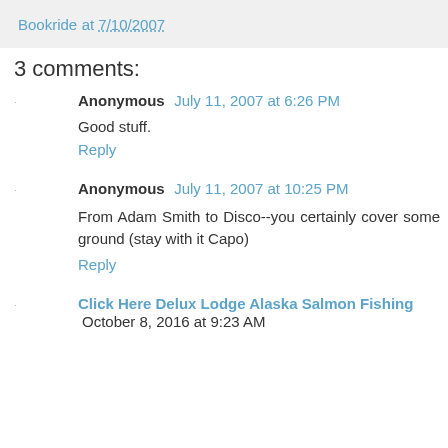Bookride at 7/10/2007
3 comments:
Anonymous July 11, 2007 at 6:26 PM
Good stuff.
Reply
Anonymous July 11, 2007 at 10:25 PM
From Adam Smith to Disco--you certainly cover some ground (stay with it Capo)
Reply
Click Here Delux Lodge Alaska Salmon Fishing October 8, 2016 at 9:23 AM